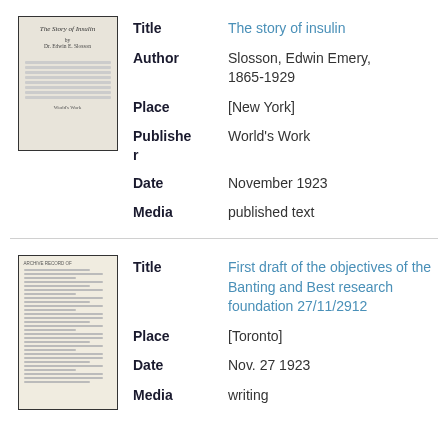[Figure (illustration): Thumbnail image of book cover: The Story of Insulin by Dr. Edwin E. Slosson, World's Work]
| Field | Value |
| --- | --- |
| Title | The story of insulin |
| Author | Slosson, Edwin Emery, 1865-1929 |
| Place | [New York] |
| Publisher | World's Work |
| Date | November 1923 |
| Media | published text |
[Figure (illustration): Thumbnail image of a typed document: First draft of the objectives of the Banting and Best research foundation]
| Field | Value |
| --- | --- |
| Title | First draft of the objectives of the Banting and Best research foundation 27/11/2912 |
| Place | [Toronto] |
| Date | Nov. 27 1923 |
| Media | writing |